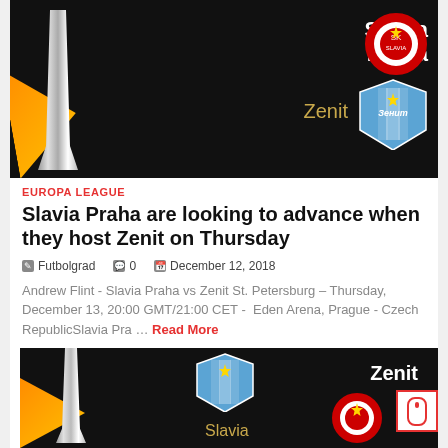[Figure (photo): Top image: Europa League themed graphic with trophy, orange ribbon, Slavia Praha and Zenit St Petersburg logos on black background. Text: Slavia Praha, Zenit]
EUROPA LEAGUE
Slavia Praha are looking to advance when they host Zenit on Thursday
Futbolgrad   0   December 12, 2018
Andrew Flint - Slavia Praha vs Zenit St. Petersburg – Thursday, December 13, 20:00 GMT/21:00 CET -  Eden Arena, Prague - Czech RepublicSlavia Pra ... Read More
[Figure (photo): Bottom image: Europa League themed graphic with trophy, Zenit and Slavia logos on black background. Text: Zenit, Slavia]